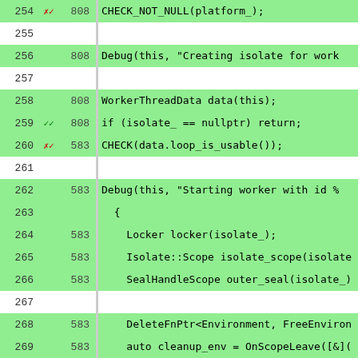[Figure (screenshot): Code coverage viewer showing C++ source lines 254-280 with line numbers, coverage markers (red x/ for uncovered, green checkmarks for covered), execution counts, and highlighted code. Green rows indicate covered lines, white rows are blank/uncovered.]